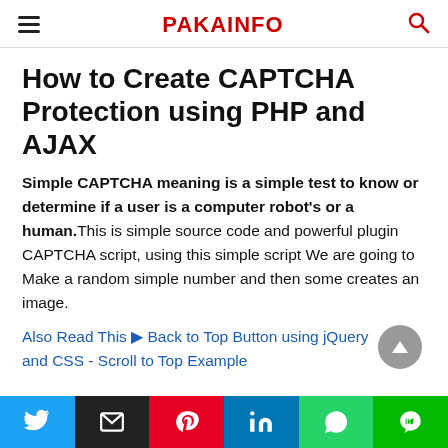PAKAINFO
How to Create CAPTCHA Protection using PHP and AJAX
Simple CAPTCHA meaning is a simple test to know or determine if a user is a computer robot's or a human. This is simple source code and powerful plugin CAPTCHA script, using this simple script We are going to Make a random simple number and then some creates an image.
Also Read This ▶ Back to Top Button using jQuery and CSS - Scroll to Top Example